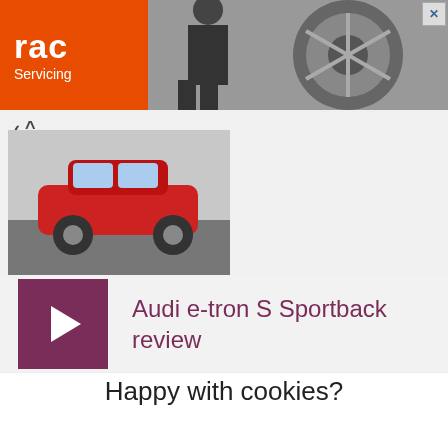[Figure (other): RAC Servicing advertisement banner with orange logo box and photo of car wheel/tire]
[Figure (photo): Collapsed thumbnail showing a red car on a road]
[Figure (other): Video panel with purple play button and title 'Audi e-tron S Sportback review']
Happy with cookies?
We use cookies to keep our site safe, understand how it's used, give you a better experience and show you more relevant ads. Read how we - and our partners - use cookies.
Yes, that's fine
No, manage cookies